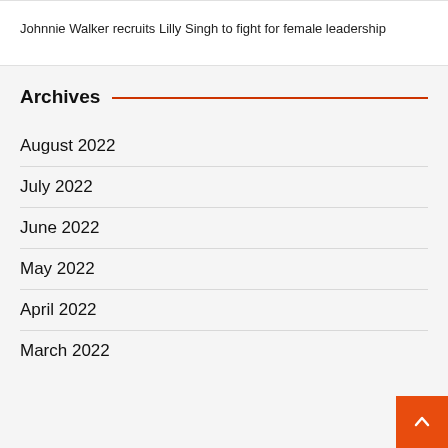Johnnie Walker recruits Lilly Singh to fight for female leadership
Archives
August 2022
July 2022
June 2022
May 2022
April 2022
March 2022